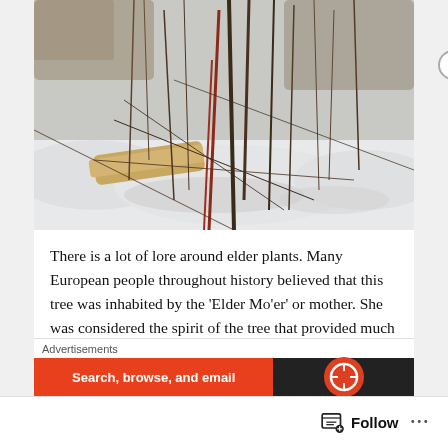[Figure (photo): Winter outdoor scene showing bare branches, twigs, and shrubs with snow on the ground. Sparse dry vegetation against a wintery snowy background.]
There is a lot of lore around elder plants. Many European people throughout history believed that this tree was inhabited by the ‘Elder Mo’er’ or mother. She was considered the spirit of the tree that provided much useful medicine and food and
Advertisements
Search, browse, and email